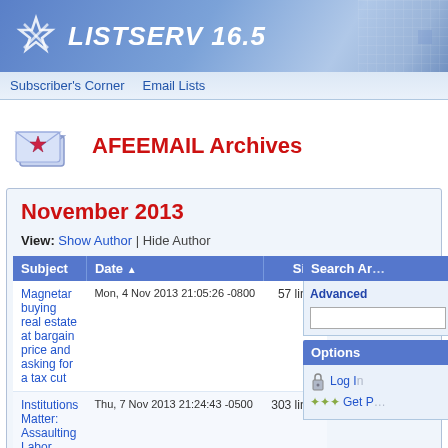LISTSERV 16.5
Subscriber's Corner  Email Lists
AFEEMAIL Archives
November 2013
View: Show Author | Hide Author
| Subject | Date | Size |
| --- | --- | --- |
| Magnetar buying real estate at bargain price and asking for a tax cut | Mon, 4 Nov 2013 21:05:26 -0800 | 57 lines |
| Institutions Matter: Assaulting Labor [Institution] | Thu, 7 Nov 2013 21:24:43 -0500 | 303 lines |
Search Archives Advanced
Options Log In Get P...